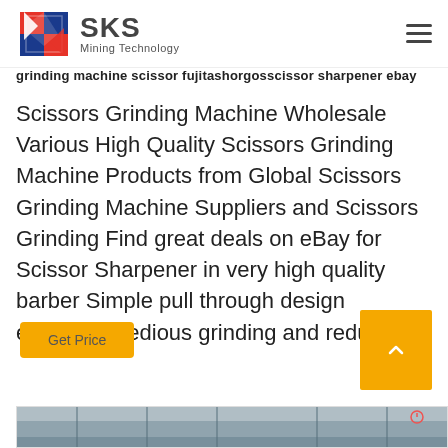SKS Mining Technology
grinding machine scissor fujitashorgosscissor sharpener ebay
Scissors Grinding Machine Wholesale Various High Quality Scissors Grinding Machine Products from Global Scissors Grinding Machine Suppliers and Scissors Grinding Find great deals on eBay for Scissor Sharpener in very high quality barber Simple pull through design eliminates tedious grinding and reduces
[Figure (photo): Factory or industrial facility interior photo showing ceiling structure and shelving/racking]